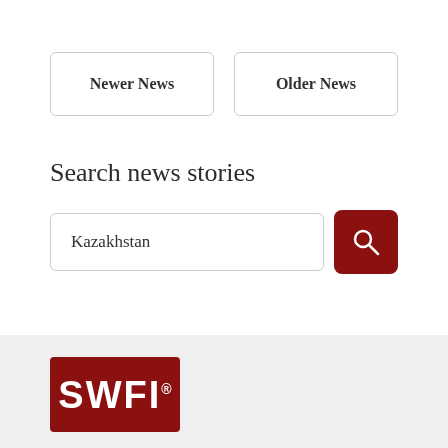Newer News
Older News
Search news stories
Kazakhstan
[Figure (logo): SWFI registered trademark logo in white text on dark red background]